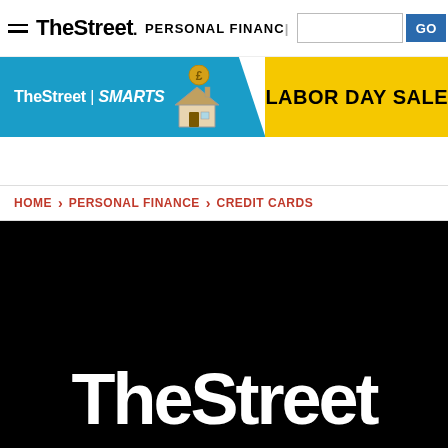TheStreet PERSONAL FINANCE GO
[Figure (logo): TheStreet SMARTS banner with house illustration and coin icon]
[Figure (infographic): LABOR DAY SALE yellow promotional banner]
HOME > PERSONAL FINANCE > CREDIT CARDS
[Figure (logo): TheStreet logo in white on black background hero image]